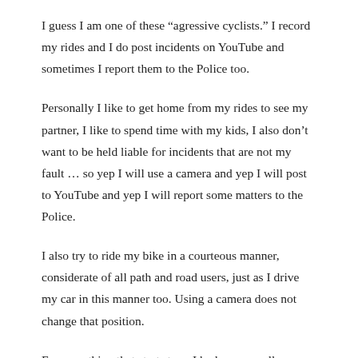I guess I am one of these “agressive cyclists.” I record my rides and I do post incidents on YouTube and sometimes I report them to the Police too.
Personally I like to get home from my rides to see my partner, I like to spend time with my kids, I also don’t want to be held liable for incidents that are not my fault … so yep I will use a camera and yep I will post to YouTube and yep I will report some matters to the Police.
I also try to ride my bike in a courteous manner, considerate of all path and road users, just as I drive my car in this manner too. Using a camera does not change that position.
For something that starts to… I had more or all…